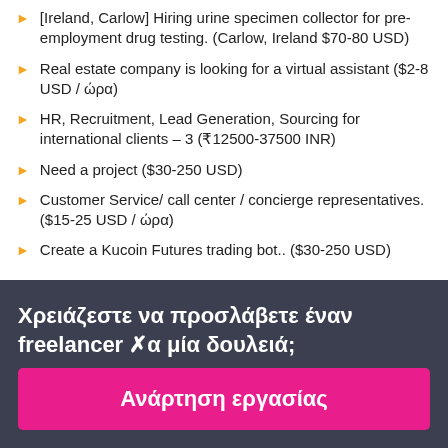[Ireland, Carlow] Hiring urine specimen collector for pre-employment drug testing. (Carlow, Ireland $70-80 USD)
Real estate company is looking for a virtual assistant ($2-8 USD / ώρα)
HR, Recruitment, Lead Generation, Sourcing for international clients – 3 (₹12500-37500 INR)
Need a project ($30-250 USD)
Customer Service/ call center / concierge representatives. ($15-25 USD / ώρα)
Create a Kucoin Futures trading bot.. ($30-250 USD)
Χρειάζεστε να προσλάβετε έναν freelancer για μία δουλειά;
Ανάρτηση εργασίας